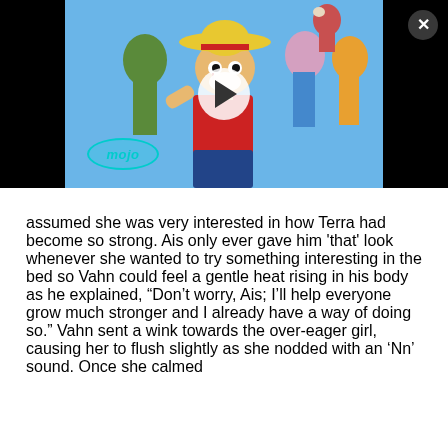[Figure (screenshot): A video thumbnail from WatchMojo showing One Piece anime characters including Luffy with a straw hat in the foreground, with a play button overlay and mojo logo in the bottom left. Black bars on either side of the thumbnail. A close (X) button in the top right corner.]
assumed she was very interested in how Terra had become so strong. Ais only ever gave him 'that' look whenever she wanted to try something interesting in the bed so Vahn could feel a gentle heat rising in his body as he explained, “Don’t worry, Ais; I’ll help everyone grow much stronger and I already have a way of doing so.” Vahn sent a wink towards the over-eager girl, causing her to flush slightly as she nodded with an ‘Nn’ sound. Once she calmed